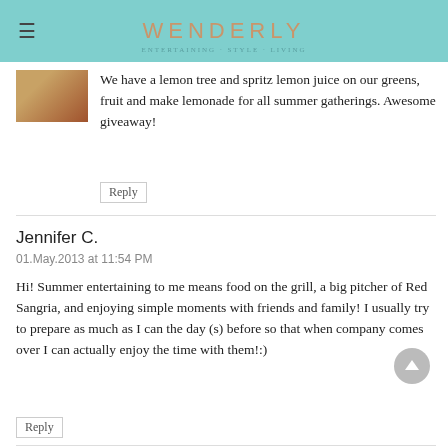WENDERLY
We have a lemon tree and spritz lemon juice on our greens, fruit and make lemonade for all summer gatherings. Awesome giveaway!
Reply
Jennifer C.
01.May.2013 at 11:54 PM
Hi! Summer entertaining to me means food on the grill, a big pitcher of Red Sangria, and enjoying simple moments with friends and family! I usually try to prepare as much as I can the day (s) before so that when company comes over I can actually enjoy the time with them!:)
Reply
Kay